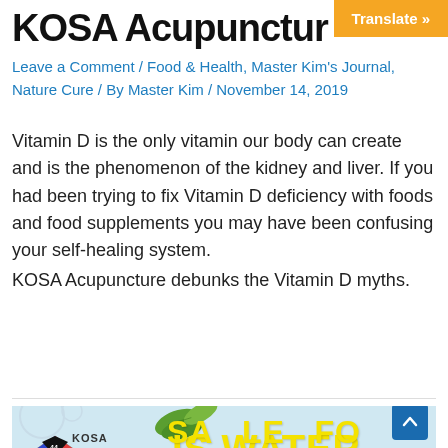KOSA Acupunctur…
Leave a Comment / Food & Health, Master Kim's Journal, Nature Cure / By Master Kim / November 14, 2019
Vitamin D is the only vitamin our body can create and is the phenomenon of the kidney and liver. If you had been trying to fix Vitamin D deficiency with foods and food supplements you may have been confusing your self-healing system.
KOSA Acupuncture debunks the Vitamin D myths.
[Figure (photo): Promotional image for KOSA Acupuncture showing green leaves on a blue background with bold yellow text reading 'IS WATER' and below it partially visible text, with KOSA logo and a scroll-to-top button.]